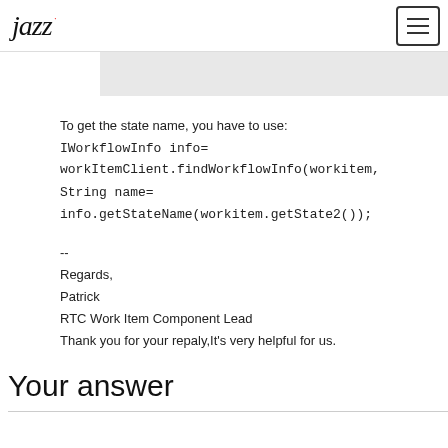jazz [logo] [menu button]
To get the state name, you have to use:
IWorkflowInfo info= workItemClient.findWorkflowInfo(workitem,
String name= info.getStateName(workitem.getState2());
--
Regards,
Patrick
RTC Work Item Component Lead
Thank you for your repaly,It's very helpful for us.
Your answer